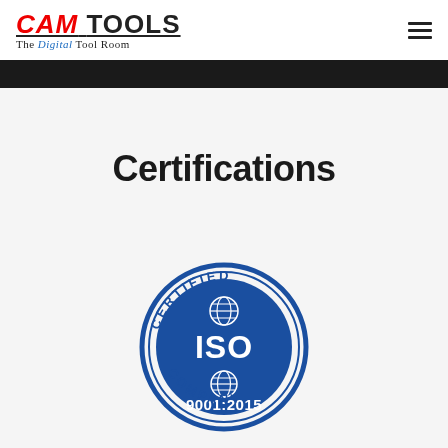CAM TOOLS — The Digital Tool Room
Certifications
[Figure (logo): ISO 9001:2015 Certified Company badge — circular blue border with 'CERTIFIED' at top, globe icon, bold 'ISO' text, '9001:2015' below, 'COMPANY' at bottom]